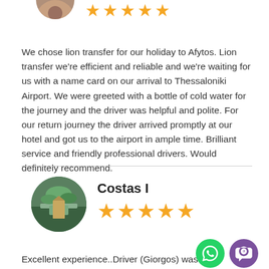[Figure (photo): Circular avatar photo of a reviewer at the top, partially cropped]
[Figure (infographic): 5 gold star rating for first reviewer]
We chose lion transfer for our holiday to Afytos. Lion transfer we're efficient and reliable and we're waiting for us with a name card on our arrival to Thessaloniki Airport. We were greeted with a bottle of cold water for the journey and the driver was helpful and polite. For our return journey the driver arrived promptly at our hotel and got us to the airport in ample time. Brilliant service and friendly professional drivers. Would definitely recommend.
Costas I
[Figure (infographic): 5 gold star rating for Costas I]
Excellent experience..Driver (Giorgos) was pr
[Figure (photo): Circular avatar photo of Costas I showing a canoe on a lake]
[Figure (logo): WhatsApp green phone icon]
[Figure (logo): Viber purple icon]